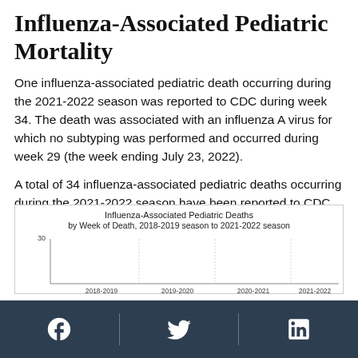Influenza-Associated Pediatric Mortality
One influenza-associated pediatric death occurring during the 2021-2022 season was reported to CDC during week 34. The death was associated with an influenza A virus for which no subtyping was performed and occurred during week 29 (the week ending July 23, 2022).
A total of 34 influenza-associated pediatric deaths occurring during the 2021-2022 season have been reported to CDC.
[Figure (line-chart): Line chart showing influenza-associated pediatric deaths by week of death across four seasons: 2018-2019, 2019-2020, 2020-2021, 2021-2022. Y-axis shows count up to 30.]
Facebook | Twitter | LinkedIn